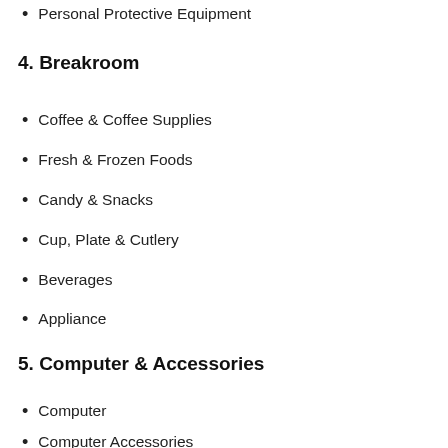Personal Protective Equipment
4. Breakroom
Coffee & Coffee Supplies
Fresh & Frozen Foods
Candy & Snacks
Cup, Plate & Cutlery
Beverages
Appliance
5. Computer & Accessories
Computer
Computer Accessories
Featured Brands